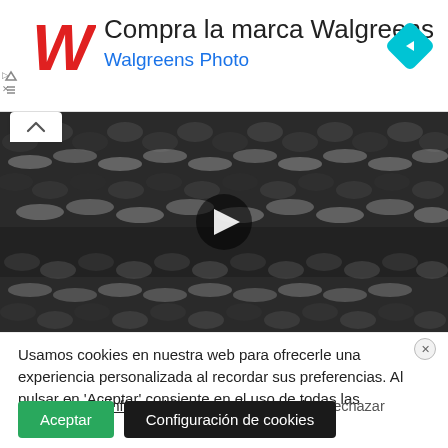[Figure (screenshot): Walgreens advertisement banner with red cursive W logo, text 'Compra la marca Walgreens' and 'Walgreens Photo' in blue, and a cyan navigation diamond icon on the right]
[Figure (photo): Video thumbnail showing a close-up of dark knitted/crocheted fabric texture with a play button triangle in the center. A chevron/up arrow is visible at the top left.]
Usamos cookies en nuestra web para ofrecerle una experiencia personalizada al recordar sus preferencias. Al pulsar en 'Aceptar' consiente en el uso de todas las cookies
No vender mi información personal. Leer más Rechazar
Aceptar
Configuración de cookies